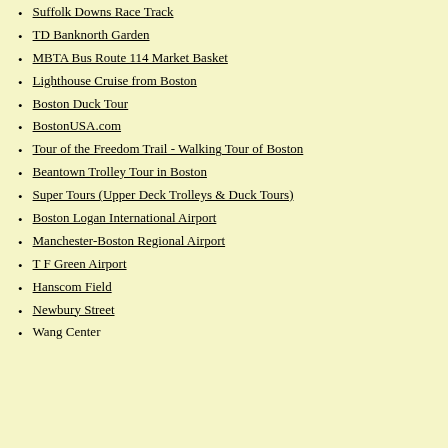Suffolk Downs Race Track
TD Banknorth Garden
MBTA Bus Route 114 Market Basket
Lighthouse Cruise from Boston
Boston Duck Tour
BostonUSA.com
Tour of the Freedom Trail - Walking Tour of Boston
Beantown Trolley Tour in Boston
Super Tours (Upper Deck Trolleys & Duck Tours)
Boston Logan International Airport
Manchester-Boston Regional Airport
T F Green Airport
Hanscom Field
Newbury Street
Wang Center